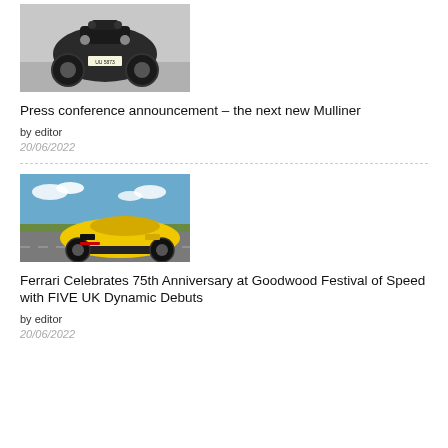[Figure (photo): Vintage Bentley race car viewed from behind on a racetrack, dark green bodywork with large exposed wheels, license plate UU 5873]
Press conference announcement – the next new Mulliner
by editor
20/06/2022
[Figure (photo): Yellow Ferrari sports car (rear three-quarter view) on a racetrack with blue sky and clouds in background]
Ferrari Celebrates 75th Anniversary at Goodwood Festival of Speed with FIVE UK Dynamic Debuts
by editor
20/06/2022